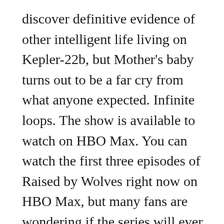discover definitive evidence of other intelligent life living on Kepler-22b, but Mother's baby turns out to be a far cry from what anyone expected. Infinite loops. The show is available to watch on HBO Max. You can watch the first three episodes of Raised by Wolves right now on HBO Max, but many fans are wondering if the series will ever come to other platforms like Netflix, Amazon Prime or Hulu. The show is created by Aaron Guzikowski and directed by Ridley Scott and recently the finale episode was aired which has left many fans of the show wondering what certain plot points meant. Posted by 1 day ago. Raised by Wolves season 1 ending explained. 693. One of the more